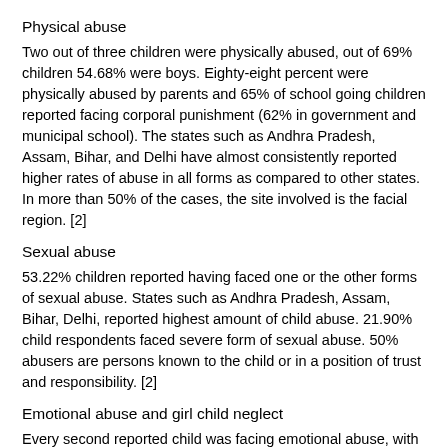Physical abuse
Two out of three children were physically abused, out of 69% children 54.68% were boys. Eighty-eight percent were physically abused by parents and 65% of school going children reported facing corporal punishment (62% in government and municipal school). The states such as Andhra Pradesh, Assam, Bihar, and Delhi have almost consistently reported higher rates of abuse in all forms as compared to other states. In more than 50% of the cases, the site involved is the facial region. [2]
Sexual abuse
53.22% children reported having faced one or the other forms of sexual abuse. States such as Andhra Pradesh, Assam, Bihar, Delhi, reported highest amount of child abuse. 21.90% child respondents faced severe form of sexual abuse. 50% abusers are persons known to the child or in a position of trust and responsibility. [2]
Emotional abuse and girl child neglect
Every second reported child was facing emotional abuse, with an equal percentage of affected girls and boys. In 83% of the cases, parents were the abusers. Girls who wished to be a boy was 48.4%. [2]
Child labor